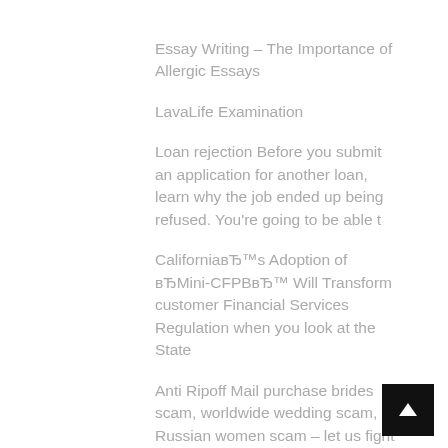Essay Writing – The Importance of Allergic Essays
LavaLife Examination
Loan rejection Before you submit an application for another loan, learn why the job ended up being refused. You're going to be able t
CaliforniaвЂ™s Adoption of вЂ‎Mini-CFPBвЂ™ Will Transform customer Financial Services Regulation when you look at the State
Anti Ripoff Mail purchase brides scam, worldwide wedding scam, Russian women scam – let us fight it!